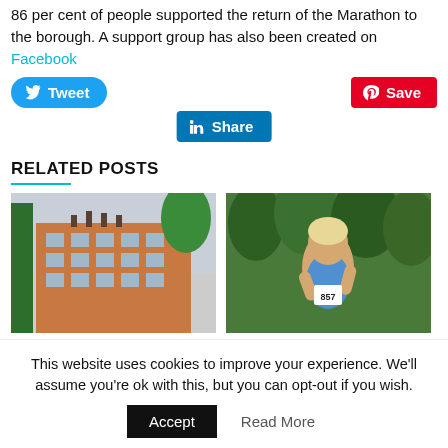86 per cent of people supported the return of the Marathon to the borough. A support group has also been created on Facebook
[Figure (infographic): Social sharing buttons: Tweet (Twitter, blue rounded), Save (Pinterest, red), Share (LinkedIn, blue)]
RELATED POSTS
[Figure (photo): Photo of a brick building with trees in front, overcast sky]
[Figure (photo): Photo of a male runner wearing a blue vest with number 957, running in a wooded area]
This website uses cookies to improve your experience. We'll assume you're ok with this, but you can opt-out if you wish.
Accept   Read More